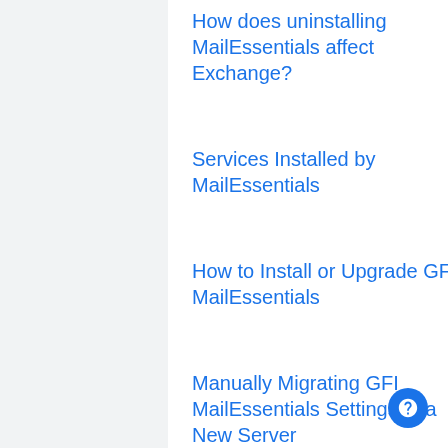How does uninstalling MailEssentials affect Exchange?
Services Installed by MailEssentials
How to Install or Upgrade GFI MailEssentials
Manually Migrating GFI MailEssentials Settings to a New Server